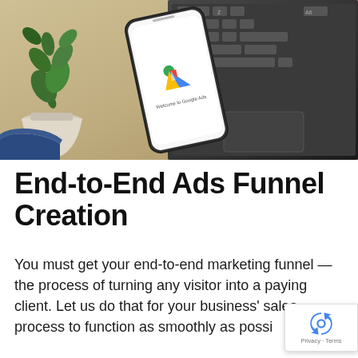[Figure (photo): Photo of a smartphone showing Google Ads welcome screen, placed on a wooden desk next to a laptop keyboard, with a small plant in a pot and a blue shoe visible in the corner]
End-to-End Ads Funnel Creation
You must get your end-to-end marketing funnel — the process of turning any visitor into a paying client. Let us do that for your business' sales process to function as smoothly as possi